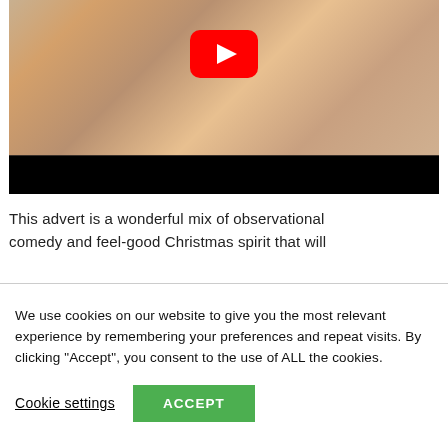[Figure (screenshot): YouTube video thumbnail showing three people (elderly man laughing, young girl, and younger man smiling) with a red YouTube play button overlay and a black bar at the bottom]
This advert is a wonderful mix of observational comedy and feel-good Christmas spirit that will
We use cookies on our website to give you the most relevant experience by remembering your preferences and repeat visits. By clicking "Accept", you consent to the use of ALL the cookies.
Cookie settings    ACCEPT